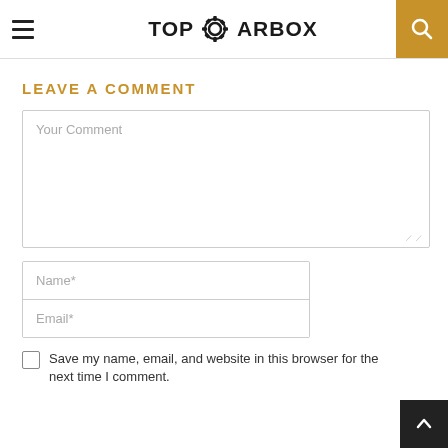TOPGEARBOX
LEAVE A COMMENT
Your Comment
Name*
Email*
Save my name, email, and website in this browser for the next time I comment.